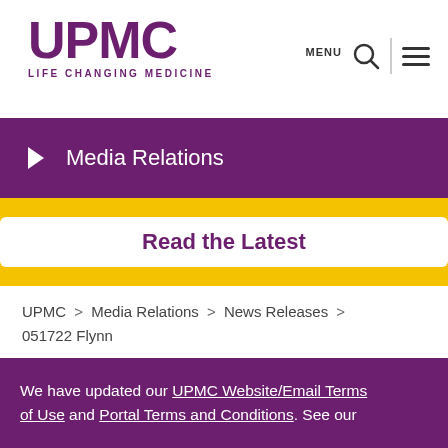UPMC LIFE CHANGING MEDICINE
Media Relations
Read the Latest
UPMC > Media Relations > News Releases > 051722 Flynn
Pitt Researchers Uncover Dynamics of Adaptive
We have updated our UPMC Website/Email Terms of Use and Portal Terms and Conditions. See our